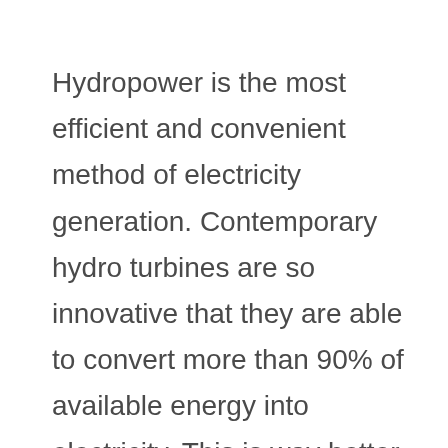Hydropower is the most efficient and convenient method of electricity generation. Contemporary hydro turbines are so innovative that they are able to convert more than 90% of available energy into electricity. This is way better when compared to the best fossil fuel facility, which is only 50% efficient.